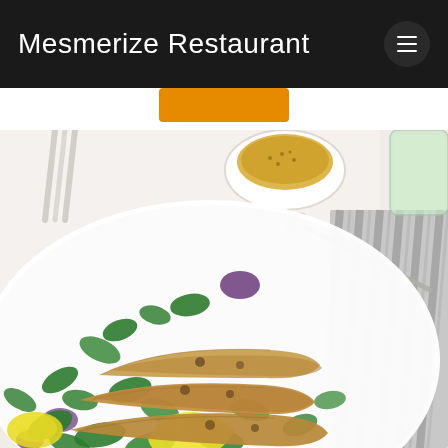Mesmerize Restaurant
[Figure (photo): Food photograph of a white plate with breaded fried sardines on a bed of watercress and mixed greens, garnished with lemon wedges and slices of purple cabbage. A bowl of seeds/sauce and a glass jar are visible in the background. A striped cloth napkin is visible on the right side.]